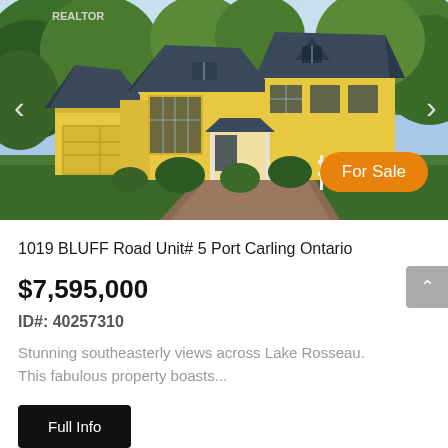[Figure (photo): Exterior photo of a yellow cottage-style house with dark grey roofs surrounded by green trees, with a brick driveway. A 'For Sale' badge in orange is overlaid on the bottom right of the image. Left and right navigation arrows are visible.]
1019 BLUFF Road Unit# 5 Port Carling Ontario
$7,595,000
ID#: 40257310
Stunning southeasterly views across Lake Rosseau. This fabulous property boasts...
Full Info